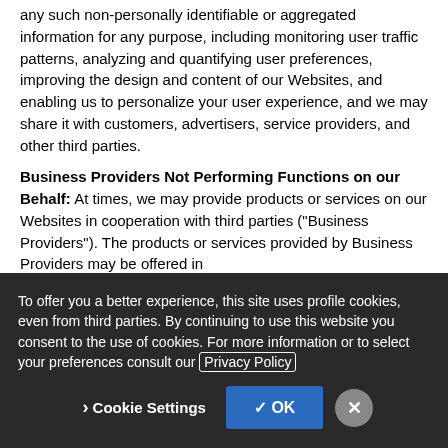any such non-personally identifiable or aggregated information for any purpose, including monitoring user traffic patterns, analyzing and quantifying user preferences, improving the design and content of our Websites, and enabling us to personalize your user experience, and we may share it with customers, advertisers, service providers, and other third parties.
Business Providers Not Performing Functions on our Behalf: At times, we may provide products or services on our Websites in cooperation with third parties ("Business Providers"). The products or services provided by Business Providers may be offered in
To offer you a better experience, this site uses profile cookies, even from third parties. By continuing to use this website you consent to the use of cookies. For more information or to select your preferences consult our Privacy Policy